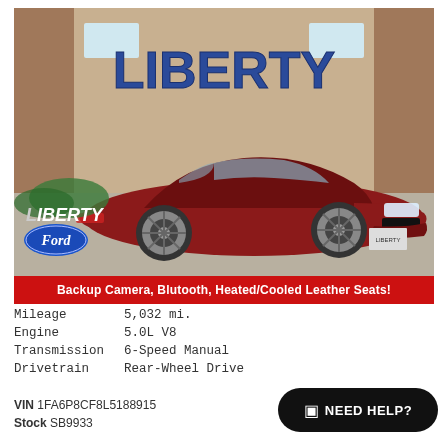[Figure (photo): Red Ford Mustang GT parked in front of Liberty Ford dealership building with brick facade and large blue LIBERTY sign. Liberty Ford logo overlay in bottom-left of photo.]
Backup Camera, Blutooth, Heated/Cooled Leather Seats!
| Mileage | 5,032 mi. |
| Engine | 5.0L V8 |
| Transmission | 6-Speed Manual |
| Drivetrain | Rear-Wheel Drive |
VIN 1FA6P8CF8L5188915
Stock SB9933